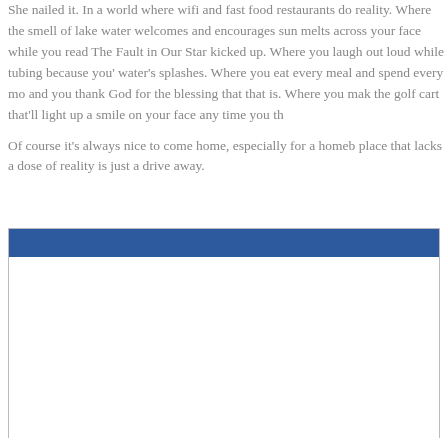She nailed it. In a world where wifi and fast food restaurants do reality. Where the smell of lake water welcomes and encourages sun melts across your face while you read The Fault in Our Star kicked up. Where you laugh out loud while tubing because you' water's splashes. Where you eat every meal and spend every mo and you thank God for the blessing that that is. Where you mak the golf cart that'll light up a smile on your face any time you th
Of course it's always nice to come home, especially for a homeb place that lacks a dose of reality is just a drive away.
[Figure (other): A rectangular box with a dark blue header bar at the top and white body below, bordered with a light gray outline.]